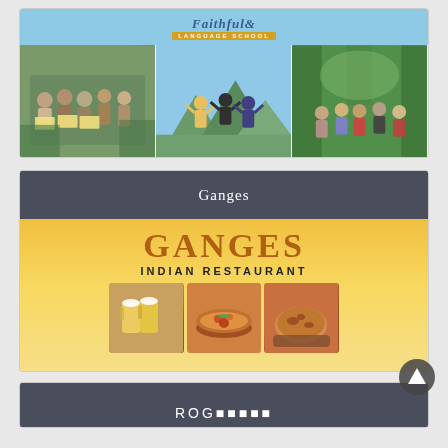[Figure (photo): Faithful Language School banner with photos of students and outdoor activities]
Ganges
[Figure (photo): Ganges Indian Restaurant advertisement banner with food photos including beer, curry, and bread]
ROG■■■■■